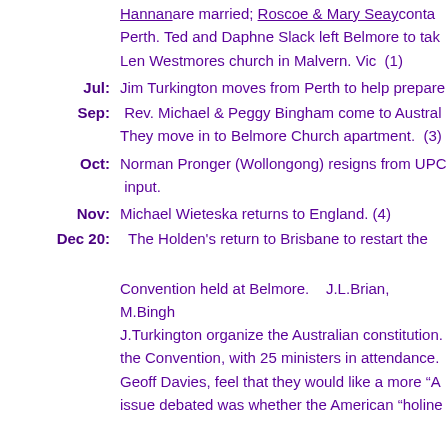Hannanare married; Roscoe & Mary Seaycontac...
Perth. Ted and Daphne Slack left Belmore to tak...
Len Westmores church in Malvern. Vic  (1)
Jul:  Jim Turkington moves from Perth to help prepare...
Sep:  Rev. Michael & Peggy Bingham come to Austral...
They move in to Belmore Church apartment.  (3)
Oct:  Norman Pronger (Wollongong) resigns from UPC...input.
Nov:  Michael Wieteska returns to England. (4)
Dec 20:  The Holden's return to Brisbane to restart the...
Convention held at Belmore.    J.L.Brian, M.Bingh...
J.Turkington organize the Australian constitution....
the Convention, with 25 ministers in attendance....
Geoff Davies, feel that they would like a more "A...
issue debated was whether the American "holine...